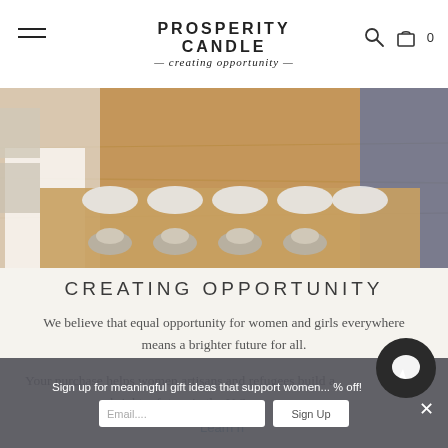PROSPERITY CANDLE — creating opportunity —
[Figure (photo): People working at a wooden table with candles and metal bowls in a workshop setting]
CREATING OPPORTUNITY
We believe that equal opportunity for women and girls everywhere means a brighter future for all.
Your purchase helps women artisans and refugees build a brighter future in the U.S.
Learn h...
Sign up for meaningful gift ideas that support women... % off!